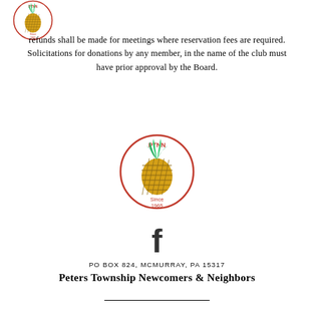[Figure (logo): Pineapple logo in a circle with 'PTNN' text at top and 'Since 1965' text at bottom, partial view at top-left corner]
refunds shall be made for meetings where reservation fees are required. Solicitations for donations by any member, in the name of the club must have prior approval by the Board.
[Figure (logo): Pineapple logo in a circle with 'PTNN' text at top and 'Since 1965' text at bottom, centered on page]
[Figure (logo): Facebook 'f' icon]
PO BOX 824, MCMURRAY, PA 15317
Peters Township Newcomers & Neighbors